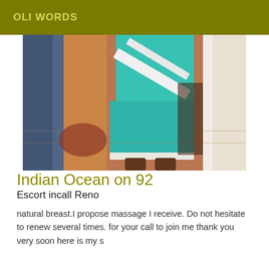OLI WORDS
[Figure (photo): A person wearing a teal/turquoise outfit standing indoors on a wooden floor near white columns and a door.]
Indian Ocean on 92
Escort incall Reno
natural breast.I propose massage I receive. Do not hesitate to renew several times. for your call to join me thank you very soon here is my s